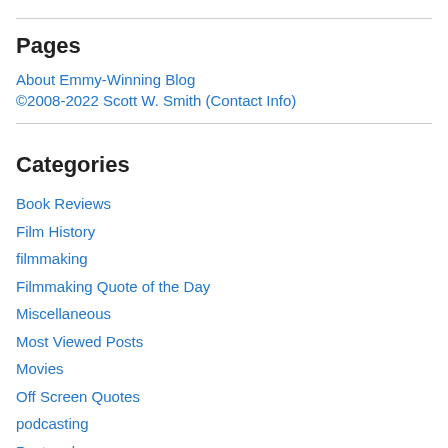Pages
About Emmy-Winning Blog
©2008-2022 Scott W. Smith (Contact Info)
Categories
Book Reviews
Film History
filmmaking
Filmmaking Quote of the Day
Miscellaneous
Most Viewed Posts
Movies
Off Screen Quotes
podcasting
Postcards
Quotes from the Road